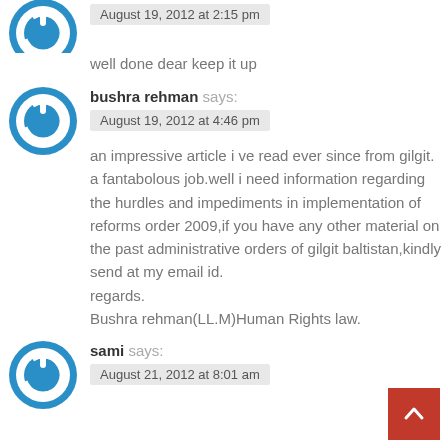[Figure (logo): Blue circular power button icon avatar (top, partially visible)]
August 19, 2012 at 2:15 pm
well done dear keep it up
[Figure (logo): Blue circular power button icon avatar for bushra rehman]
bushra rehman says:
August 19, 2012 at 4:46 pm
an impressive article i ve read ever since from gilgit.
a fantabolous job.well i need information regarding the hurdles and impediments in implementation of reforms order 2009,if you have any other material on the past administrative orders of gilgit baltistan,kindly send at my email id.
regards.
Bushra rehman(LL.M)Human Rights law.
[Figure (logo): Blue circular power button icon avatar for sami]
sami says:
August 21, 2012 at 8:01 am